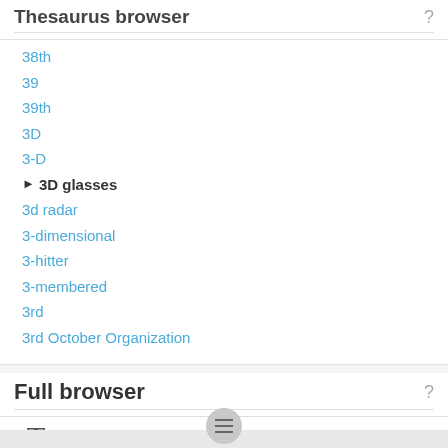Thesaurus browser
38th
39
39th
3D
3-D
3D glasses
3d radar
3-dimensional
3-hitter
3-membered
3rd
3rd October Organization
Full browser
3D game
3D game
3D gaming